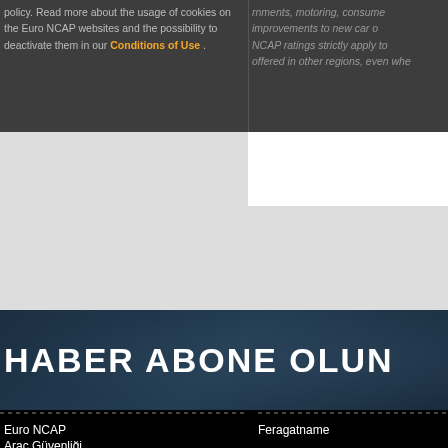policy. Read more about the usage of cookies on the Euro NCAP websites and the possibility to deactivate them in our Conditions of Use .
rnments, motoring, consumer improvements to new car o NCAP ratings strictly apply to offered in other regions, even whe
HABER ABONE OLUN
Euro NCAP
Araç Güvenliği
Basın ve Medya
Mühendisler için
İletişim
Feragatname